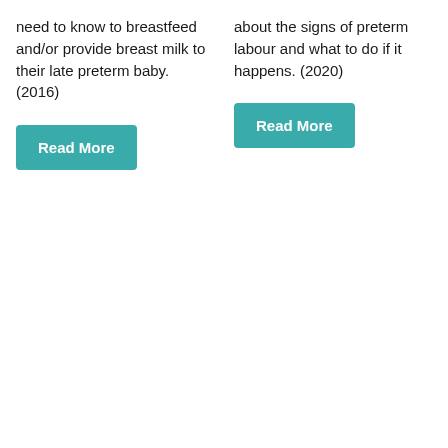need to know to breastfeed and/or provide breast milk to their late preterm baby. (2016)
about the signs of preterm labour and what to do if it happens. (2020)
[Figure (other): Teal 'Read More' button (left column)]
[Figure (other): Teal 'Read More' button (right column)]